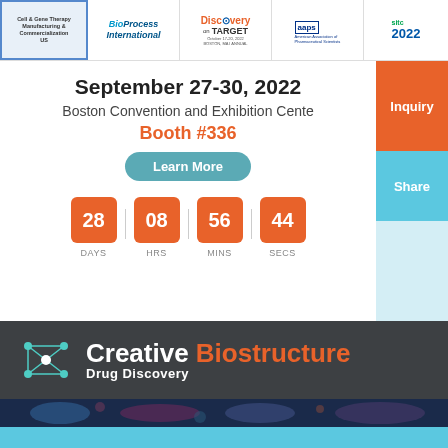[Figure (logo): Header logos bar: Cell & Gene Therapy Manufacturing & Commercialization US, BioProcess International, Discovery on TARGET October 17-20 2022, AAPS American Association of Pharmaceutical Scientists, SITC 2022]
September 27-30, 2022
Boston Convention and Exhibition Center
Booth #336
Learn More
28 DAYS 08 HRS 56 MINS 44 SECS
[Figure (logo): Creative Biostructure Drug Discovery logo with molecule network graphic on dark background]
[Figure (photo): Colorful molecular/drug discovery imagery strip]
Menu